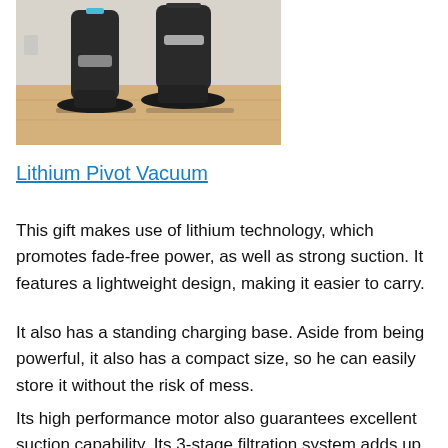[Figure (photo): Photo of a Lithium Pivot Vacuum cleaner — two upright handheld/stick vacuum units in dark gray/black shown standing on a light wood floor surface.]
Lithium Pivot Vacuum
This gift makes use of lithium technology, which promotes fade-free power, as well as strong suction. It features a lightweight design, making it easier to carry.
It also has a standing charging base. Aside from being powerful, it also has a compact size, so he can easily store it without the risk of mess.
Its high performance motor also guarantees excellent suction capability. Its 3-stage filtration system adds up